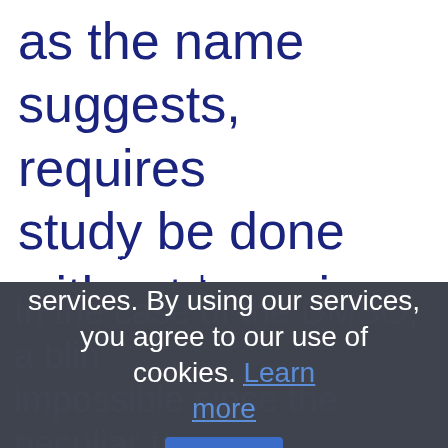as the name suggests, requires study be done without knowing w patient is taking the placebo or t
In the case of the DMSO, a blin impossible since the peculiar ta satisfaction should be double bli that would im DMSO (or placebo s).
Cookies help us deliver our services. By using our services, you agree to our use of cookies. Learn more